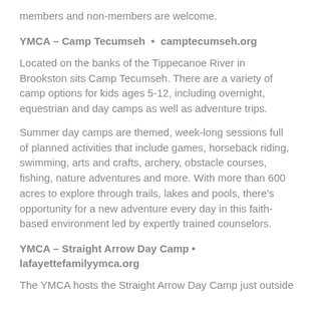members and non-members are welcome.
YMCA – Camp Tecumseh  •  camptecumseh.org
Located on the banks of the Tippecanoe River in Brookston sits Camp Tecumseh. There are a variety of camp options for kids ages 5-12, including overnight, equestrian and day camps as well as adventure trips.
Summer day camps are themed, week-long sessions full of planned activities that include games, horseback riding, swimming, arts and crafts, archery, obstacle courses, fishing, nature adventures and more. With more than 600 acres to explore through trails, lakes and pools, there's opportunity for a new adventure every day in this faith-based environment led by expertly trained counselors.
YMCA – Straight Arrow Day Camp • lafayettefamilyymca.org
The YMCA hosts the Straight Arrow Day Camp just outside